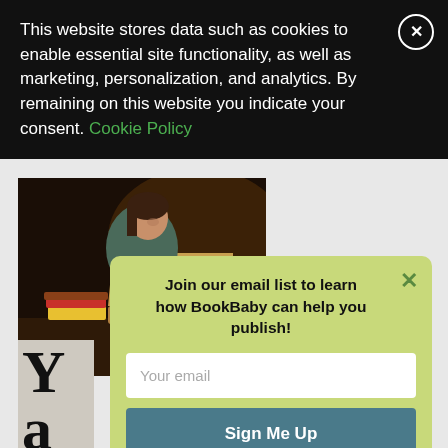This website stores data such as cookies to enable essential site functionality, as well as marketing, personalization, and analytics. By remaining on this website you indicate your consent. Cookie Policy
[Figure (photo): Woman sitting at a desk working on a laptop with books stacked nearby, in a warm dark-toned environment]
[Figure (photo): Partial view of a book cover showing large letters 'Y' and 'a']
Join our email list to learn how BookBaby can help you publish!
Your email
Sign Me Up